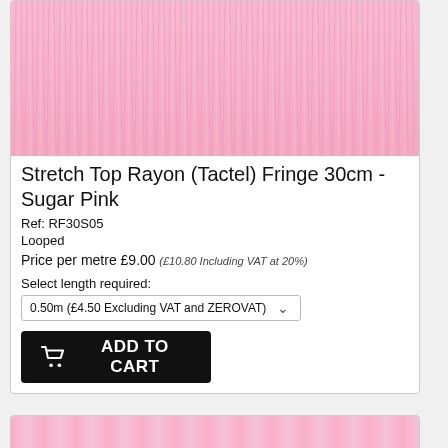[Figure (photo): Close-up photo of pink rayon fringe fabric — Sugar Pink color, showing vertical strand texture]
Stretch Top Rayon (Tactel) Fringe 30cm - Sugar Pink
Ref: RF30S05
Looped
Price per metre £9.00 (£10.80 Including VAT at 20%)
Select length required:
0.50m (£4.50 Excluding VAT and ZEROVAT)
[Figure (photo): Close-up photo of pink rayon fringe fabric — partial view at bottom of page]